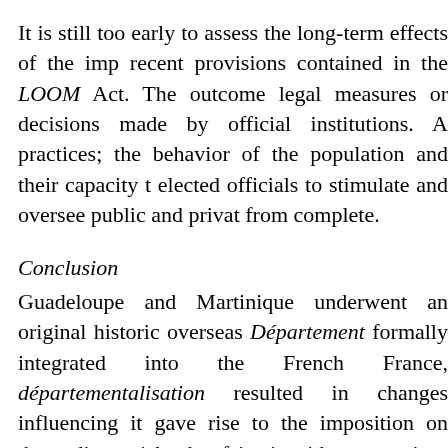It is still too early to assess the long-term effects of the imp recent provisions contained in the LOOM Act. The outcome legal measures or decisions made by official institutions. A practices; the behavior of the population and their capacity t elected officials to stimulate and oversee public and privat from complete.
Conclusion
Guadeloupe and Martinique underwent an original historic overseas Département formally integrated into the French France, départementalisation resulted in changes influencing it gave rise to the imposition on these distant islands of instit with some minor amendments. Likewise, laws and regulation West-Indian citizens remained much attached to the princip limitations today. Based on the French tradition of centraliz run out of steam. It hardly succeeds in taking into account de